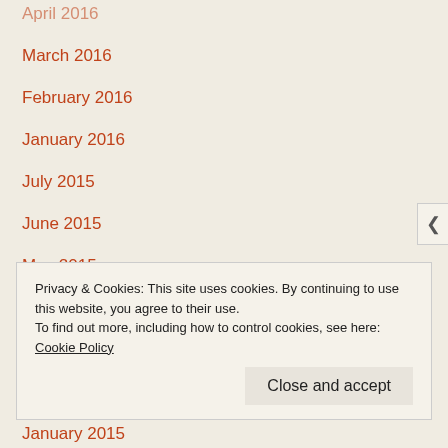April 2016
March 2016
February 2016
January 2016
July 2015
June 2015
May 2015
April 2015
March 2015
February 2015
January 2015
Privacy & Cookies: This site uses cookies. By continuing to use this website, you agree to their use. To find out more, including how to control cookies, see here: Cookie Policy